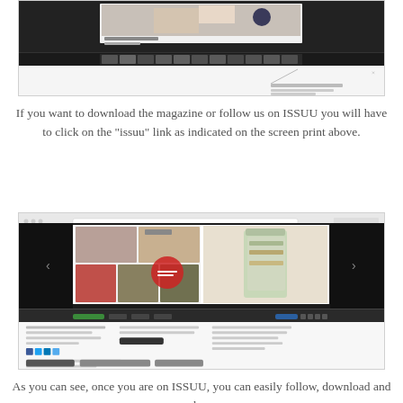[Figure (screenshot): Screenshot of an ISSUU magazine page viewer showing a dark background with a magazine spread featuring a woman with colorful accessories and product images, with a filmstrip of thumbnail images at the bottom. Below the dark area is a white section with small text and a callout annotation.]
If you want to download the magazine or follow us on ISSUU you will have to click on the "issuu" link as indicated on the screen print above.
[Figure (screenshot): Screenshot of an ISSUU page showing a magazine spread with food and craft images arranged in a grid on the left side and a tall glass jar with decorative contents on the right side, set against a dark background. Navigation arrows on either side. Below is a dark toolbar, and beneath that a white info area with text columns, social sharing buttons, and follow/download buttons.]
As you can see, once you are on ISSUU, you can easily follow, download and much more.